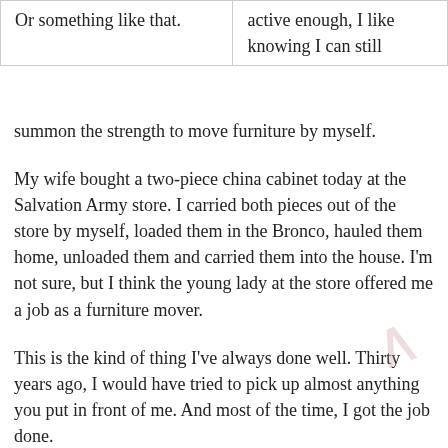| Or something like that. | active enough, I like knowing I can still |
summon the strength to move furniture by myself.
My wife bought a two-piece china cabinet today at the Salvation Army store. I carried both pieces out of the store by myself, loaded them in the Bronco, hauled them home, unloaded them and carried them into the house. I'm not sure, but I think the young lady at the store offered me a job as a furniture mover.
This is the kind of thing I've always done well. Thirty years ago, I would have tried to pick up almost anything you put in front of me. And most of the time, I got the job done.